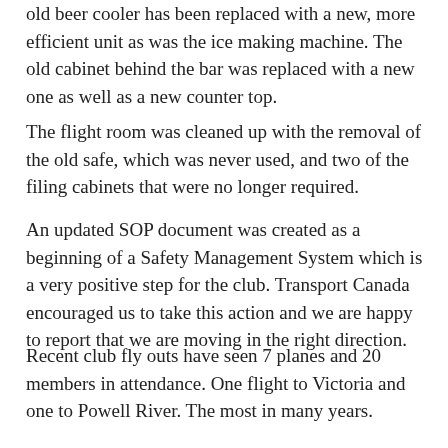old beer cooler has been replaced with a new, more efficient unit as was the ice making machine.  The old cabinet behind the bar was replaced with a new one as well as a new counter top.
The flight room was cleaned up with the removal of the old safe, which was never used, and two of the filing cabinets that were no longer required.
An updated SOP document was created as a beginning of a Safety Management System which is a very positive step for the club.  Transport Canada encouraged us to take this action and we are happy to report that we are moving in the right direction.
Recent club fly outs have seen 7 planes and 20 members in attendance.  One flight to Victoria and one to Powell River.  The most in many years.